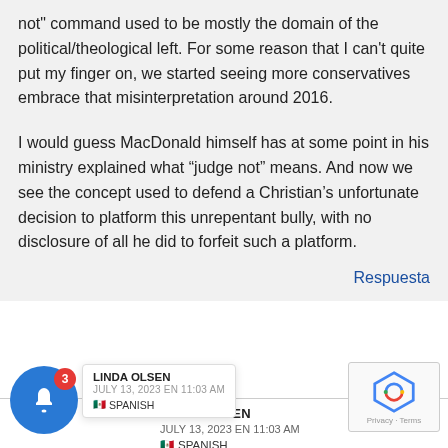not" command used to be mostly the domain of the political/theological left. For some reason that I can't quite put my finger on, we started seeing more conservatives embrace that misinterpretation around 2016.

I would guess MacDonald himself has at some point in his ministry explained what “judge not” means. And now we see the concept used to defend a Christian's unfortunate decision to platform this unrepentant bully, with no disclosure of all he did to forfeit such a platform.
Respuesta
LINDA OLSEN
JULY 13, 2023 EN 11:03 AM
🇲🇽 SPANISH